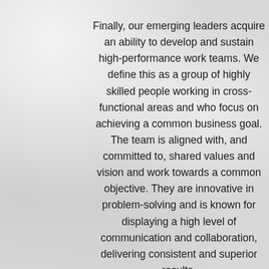Finally, our emerging leaders acquire an ability to develop and sustain high-performance work teams. We define this as a group of highly skilled people working in cross-functional areas and who focus on achieving a common business goal. The team is aligned with, and committed to, shared values and vision and work towards a common objective. They are innovative in problem-solving and is known for displaying a high level of communication and collaboration, delivering consistent and superior results.